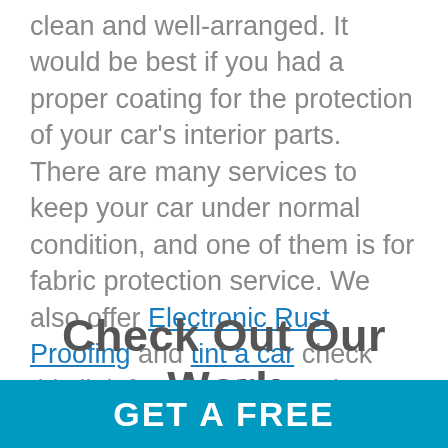clean and well-arranged. It would be best if you had a proper coating for the protection of your car's interior parts. There are many services to keep your car under normal condition, and one of them is for fabric protection service. We also offer Electronic Rust Proofing and tint a car check this link for more information.
Check Out Our Work
GET A FREE